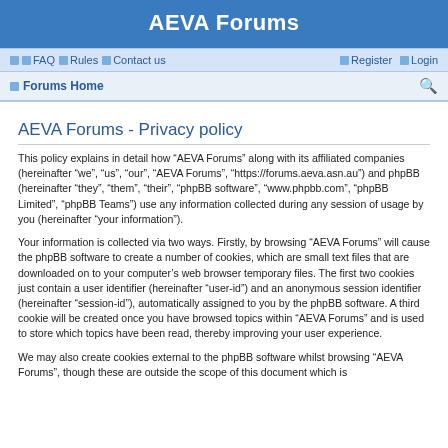AEVA Forums
FAQ  Rules  Contact us  Register  Login
Forums Home
AEVA Forums - Privacy policy
This policy explains in detail how “AEVA Forums” along with its affiliated companies (hereinafter “we”, “us”, “our”, “AEVA Forums”, “https://forums.aeva.asn.au”) and phpBB (hereinafter “they”, “them”, “their”, “phpBB software”, “www.phpbb.com”, “phpBB Limited”, “phpBB Teams”) use any information collected during any session of usage by you (hereinafter “your information”).
Your information is collected via two ways. Firstly, by browsing “AEVA Forums” will cause the phpBB software to create a number of cookies, which are small text files that are downloaded on to your computer’s web browser temporary files. The first two cookies just contain a user identifier (hereinafter “user-id”) and an anonymous session identifier (hereinafter “session-id”), automatically assigned to you by the phpBB software. A third cookie will be created once you have browsed topics within “AEVA Forums” and is used to store which topics have been read, thereby improving your user experience.
We may also create cookies external to the phpBB software whilst browsing “AEVA Forums”, though these are outside the scope of this document which is